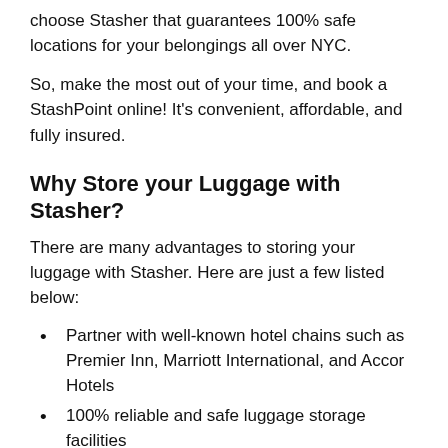choose Stasher that guarantees 100% safe locations for your belongings all over NYC.
So, make the most out of your time, and book a StashPoint online! It's convenient, affordable, and fully insured.
Why Store your Luggage with Stasher?
There are many advantages to storing your luggage with Stasher. Here are just a few listed below:
Partner with well-known hotel chains such as Premier Inn, Marriott International, and Accor Hotels
100% reliable and safe luggage storage facilities
Each item you store with Stasher is insured for up to $1,000
Award-winning customer service, available 24/7
Every one of our StashPoints has been vetted by